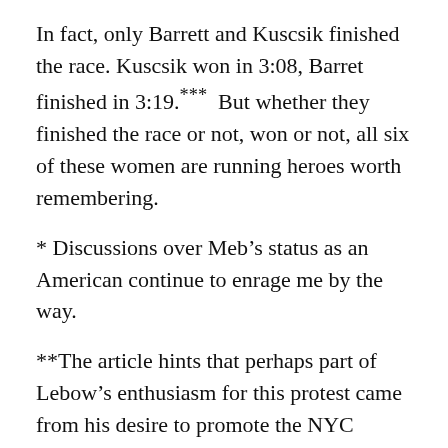In fact, only Barrett and Kuscsik finished the race. Kuscsik won in 3:08, Barret finished in 3:19.***  But whether they finished the race or not, won or not, all six of these women are running heroes worth remembering.
* Discussions over Meb’s status as an American continue to enrage me by the way.
**The article hints that perhaps part of Lebow’s enthusiasm for this protest came from his desire to promote the NYC marathon.  We’ll never know Lebow’s motivations for sure, he died in 1994, but I hardly care.  Whatever his reasons, he was on the right side of the fight.
***It is worth noting that Kuscsik remains the only